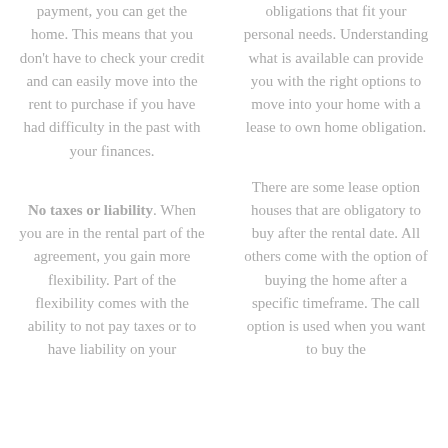payment, you can get the home. This means that you don't have to check your credit and can easily move into the rent to purchase if you have had difficulty in the past with your finances.
obligations that fit your personal needs. Understanding what is available can provide you with the right options to move into your home with a lease to own home obligation.
No taxes or liability. When you are in the rental part of the agreement, you gain more flexibility. Part of the flexibility comes with the ability to not pay taxes or to have liability on your
There are some lease option houses that are obligatory to buy after the rental date. All others come with the option of buying the home after a specific timeframe. The call option is used when you want to buy the